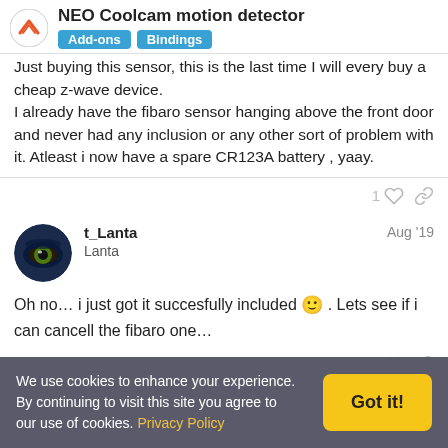NEO Coolcam motion detector
Just buying this sensor, this is the last time I will every buy a cheap z-wave device. I already have the fibaro sensor hanging above the front door and never had any inclusion or any other sort of problem with it. Atleast i now have a spare CR123A battery , yaay.
t_Lanta Lanta Aug '19
Oh no… i just got it succesfully included 🙂 . Lets see if i can cancell the fibaro one…
We use cookies to enhance your experience. By continuing to visit this site you agree to our use of cookies. Privacy Policy